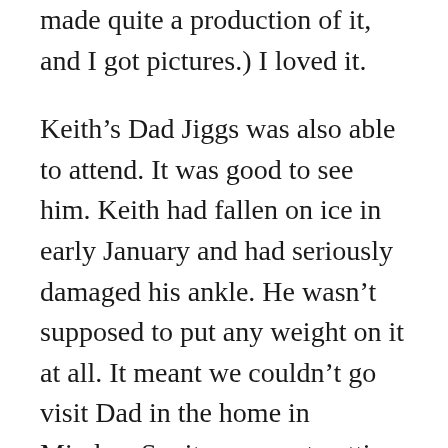made quite a production of it, and I got pictures.) I loved it.
Keith’s Dad Jiggs was also able to attend. It was good to see him. Keith had fallen on ice in early January and had seriously damaged his ankle. He wasn’t supposed to put any weight on it at all. It meant we couldn’t go visit Dad in the home in Minden. So, it was great getting to spend time with him.
What we didn’t realize was that Covid